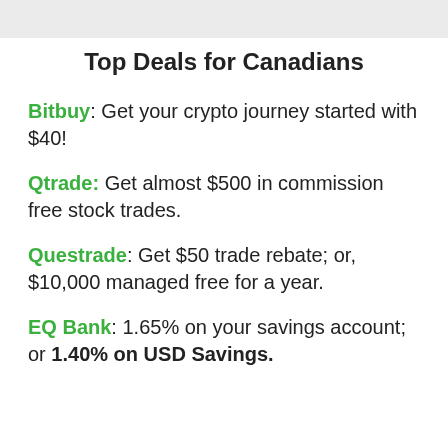Top Deals for Canadians
Bitbuy: Get your crypto journey started with $40!
Qtrade: Get almost $500 in commission free stock trades.
Questrade: Get $50 trade rebate; or, $10,000 managed free for a year.
EQ Bank: 1.65% on your savings account; or 1.40% on USD Savings.